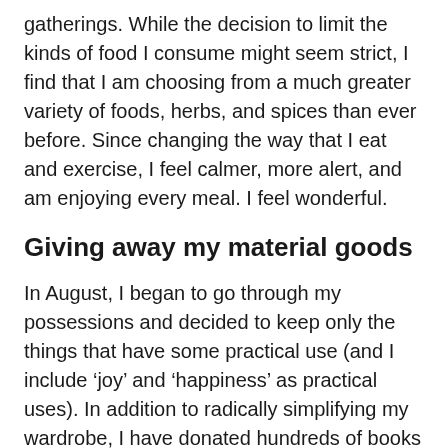gatherings. While the decision to limit the kinds of food I consume might seem strict, I find that I am choosing from a much greater variety of foods, herbs, and spices than ever before. Since changing the way that I eat and exercise, I feel calmer, more alert, and am enjoying every meal. I feel wonderful.
Giving away my material goods
In August, I began to go through my possessions and decided to keep only the things that have some practical use (and I include ‘joy’ and ‘happiness’ as practical uses). In addition to radically simplifying my wardrobe, I have donated hundreds of books (over two thirds of my library)